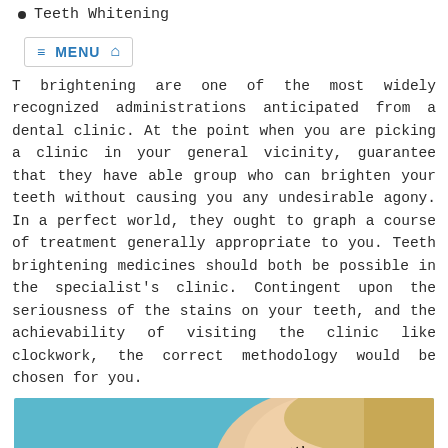Teeth Whitening
Teeth brightening are one of the most widely recognized administrations anticipated from a dental clinic. At the point when you are picking a clinic in your general vicinity, guarantee that they have able group who can brighten your teeth without causing you any undesirable agony. In a perfect world, they ought to graph a course of treatment generally appropriate to you. Teeth brightening medicines should both be possible in the specialist's clinic. Contingent upon the seriousness of the stains on your teeth, and the achievability of visiting the clinic like clockwork, the correct methodology would be chosen for you.
[Figure (photo): A child patient at the dentist, wearing a teal/blue dental bib, looking upward while gloved hands hold dental instruments near the mouth.]